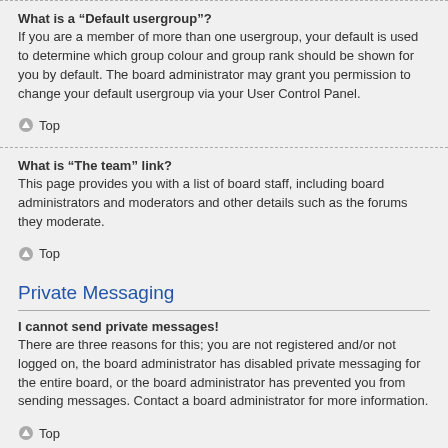What is a “Default usergroup”?
If you are a member of more than one usergroup, your default is used to determine which group colour and group rank should be shown for you by default. The board administrator may grant you permission to change your default usergroup via your User Control Panel.
Top
What is “The team” link?
This page provides you with a list of board staff, including board administrators and moderators and other details such as the forums they moderate.
Top
Private Messaging
I cannot send private messages!
There are three reasons for this; you are not registered and/or not logged on, the board administrator has disabled private messaging for the entire board, or the board administrator has prevented you from sending messages. Contact a board administrator for more information.
Top
I keep getting unwanted private messages!